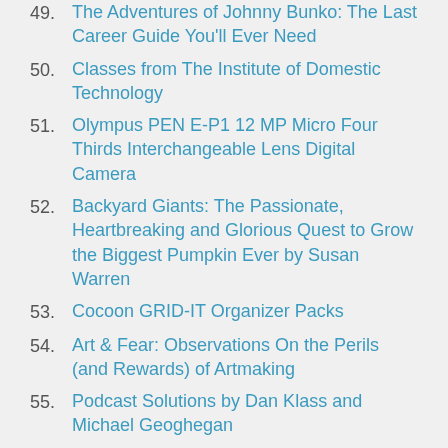49. The Adventures of Johnny Bunko: The Last Career Guide You'll Ever Need
50. Classes from The Institute of Domestic Technology
51. Olympus PEN E-P1 12 MP Micro Four Thirds Interchangeable Lens Digital Camera
52. Backyard Giants: The Passionate, Heartbreaking and Glorious Quest to Grow the Biggest Pumpkin Ever by Susan Warren
53. Cocoon GRID-IT Organizer Packs
54. Art & Fear: Observations On the Perils (and Rewards) of Artmaking
55. Podcast Solutions by Dan Klass and Michael Geoghegan
56. The Craft and Business of Songwriting by John Braheny
57. [partially visible]